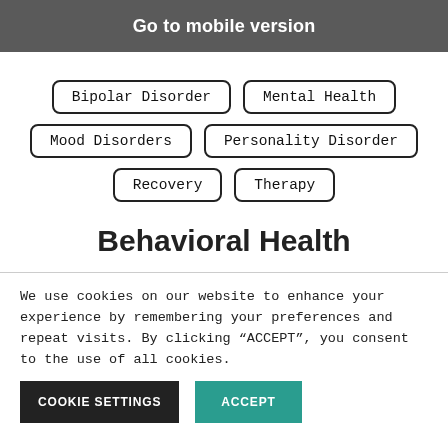Go to mobile version
Bipolar Disorder
Mental Health
Mood Disorders
Personality Disorder
Recovery
Therapy
Behavioral Health
We use cookies on our website to enhance your experience by remembering your preferences and repeat visits. By clicking “ACCEPT”, you consent to the use of all cookies.
COOKIE SETTINGS  ACCEPT